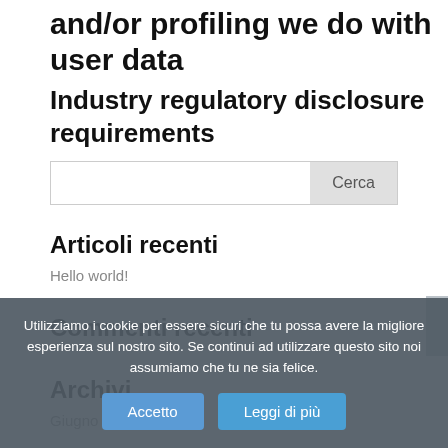and/or profiling we do with user data
Industry regulatory disclosure requirements
Cerca [search box]
Articoli recenti
Hello world!
Commenti recenti
Archivi
Giugno 2018
Categorie
Uncategorized
Utilizziamo i cookie per essere sicuri che tu possa avere la migliore esperienza sul nostro sito. Se continui ad utilizzare questo sito noi assumiamo che tu ne sia felice.
Accetto | Leggi di più